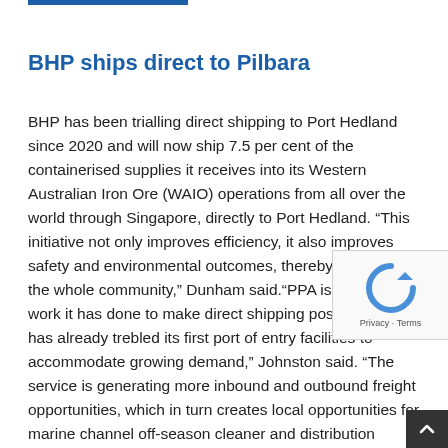BHP ships direct to Pilbara
BHP has been trialling direct shipping to Port Hedland since 2020 and will now ship 7.5 per cent of the containerised supplies it receives into its Western Australian Iron Ore (WAIO) operations from all over the world through Singapore, directly to Port Hedland. “This initiative not only improves efficiency, it also improves safety and environmental outcomes, thereby benefiting the whole community,” Dunham said.“PPA is proud of the work it has done to make direct shipping possible and has already trebled its first port of entry facilities to accommodate growing demand,” Johnston said. “The service is generating more inbound and outbound freight opportunities, which in turn creates local opportunities for marine channel off-season cleaner and distribution